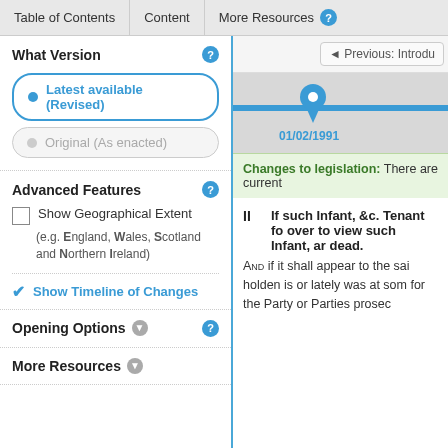Table of Contents | Content | More Resources
What Version
Latest available (Revised)
Original (As enacted)
Advanced Features
Show Geographical Extent
(e.g. England, Wales, Scotland and Northern Ireland)
Show Timeline of Changes
Previous: Introd
[Figure (other): Timeline slider showing date 01/02/1991 with a pin marker on a horizontal track]
Changes to legislation: There are current
II  If such Infant, &c. Tenant fo over to view such Infant, ar dead.
AND if it shall appear to the sai holden is or lately was at som for the Party or Parties prosec
Opening Options
More Resources